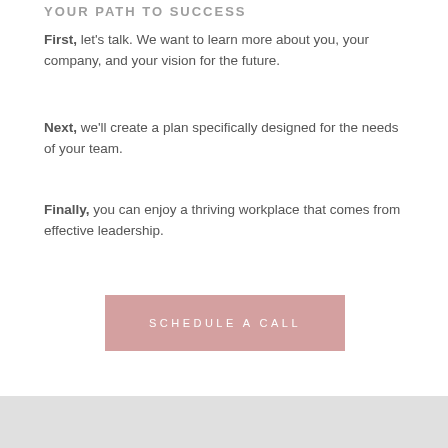YOUR PATH TO SUCCESS
First, let’s talk. We want to learn more about you, your company, and your vision for the future.
Next, we’ll create a plan specifically designed for the needs of your team.
Finally, you can enjoy a thriving workplace that comes from effective leadership.
[Figure (other): Pink rectangular button with white uppercase text reading SCHEDULE A CALL]